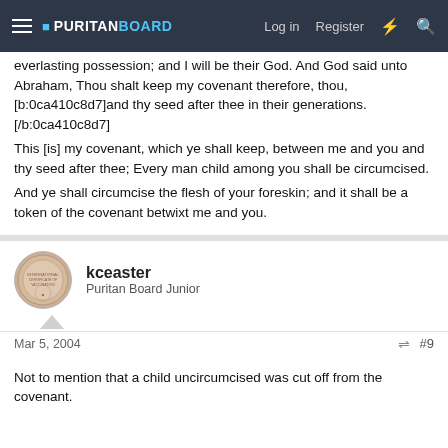PURITAN BOARD | Log in | Register
everlasting possession; and I will be their God. And God said unto Abraham, Thou shalt keep my covenant therefore, thou, [b:0ca410c8d7]and thy seed after thee in their generations.[/b:0ca410c8d7]
This [is] my covenant, which ye shall keep, between me and you and thy seed after thee; Every man child among you shall be circumcised.
And ye shall circumcise the flesh of your foreskin; and it shall be a token of the covenant betwixt me and you.
kceaster
Puritan Board Junior
Mar 5, 2004
#9
Not to mention that a child uncircumcised was cut off from the covenant.